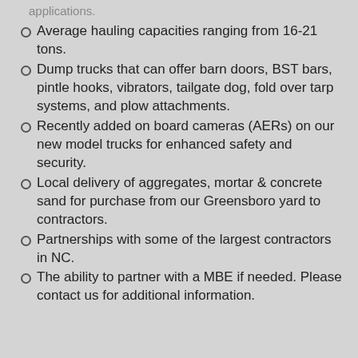Average hauling capacities ranging from 16-21 tons.
Dump trucks that can offer barn doors, BST bars, pintle hooks, vibrators, tailgate dog, fold over tarp systems, and plow attachments.
Recently added on board cameras (AERs) on our new model trucks for enhanced safety and security.
Local delivery of aggregates, mortar & concrete sand for purchase from our Greensboro yard to contractors.
Partnerships with some of the largest contractors in NC.
The ability to partner with a MBE if needed. Please contact us for additional information.